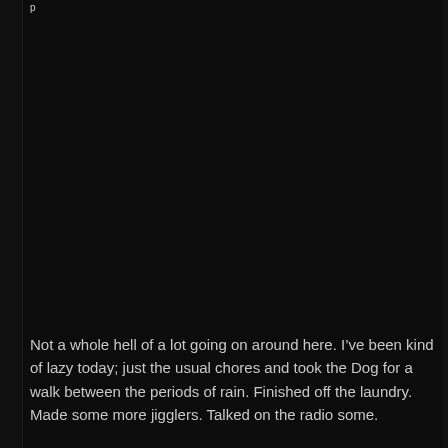p
Not a whole hell of a lot going on around here. I’ve been kind of lazy today; just the usual chores and took the Dog for a walk between the periods of rain. Finished off the laundry. Made some more jigglers. Talked on the radio some.